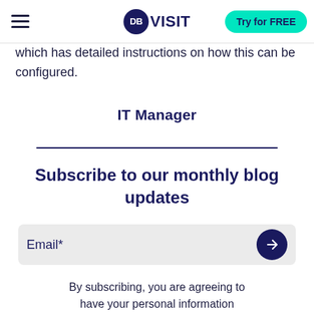DB VISIT — Try for FREE
which has detailed instructions on how this can be configured.
IT Manager
Subscribe to our monthly blog updates
Email*
By subscribing, you are agreeing to have your personal information